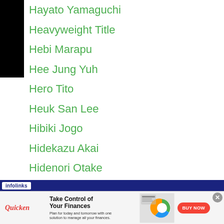Hayato Yamaguchi
Heavyweight Title
Hebi Marapu
Hee Jung Yuh
Hero Tito
Heuk San Lee
Hibiki Jogo
Hidekazu Akai
Hidenori Otake
Hideo Sakamoto
Hideyukiohashi
Hideyuki Ohashi
Hideyuki Watanabe
High School
Hikari Mineta
Hik... Fukunaga
[Figure (screenshot): Infolinks advertisement banner for Quicken finance software with 'Take Control of Your Finances' headline and BUY NOW button]